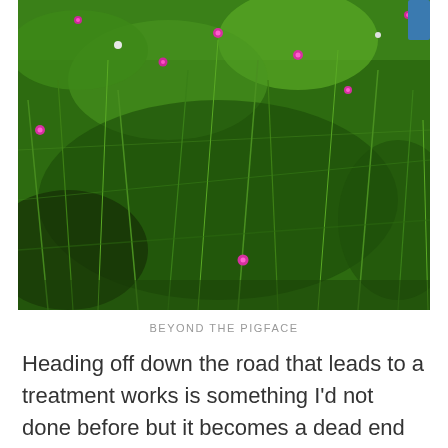[Figure (photo): Close-up photograph of dense green succulent pigface plant with small bright pink/magenta flowers scattered throughout. Leafy green stems fill the frame with some sunlight visible. A small blue element is visible in the top right corner.]
BEYOND THE PIGFACE
Heading off down the road that leads to a treatment works is something I'd not done before but it becomes a dead end except there's a thin trail through the bush where others have gone before and soon I'm making progress through the scrub and it leads to where the porphyritic basalt used to be quarried well over a century ago. It wasn't until 1979 that the quarry was proposed for heritage listing by the Geological Society